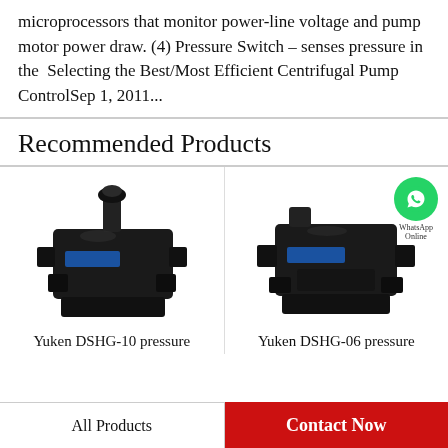microprocessors that monitor power-line voltage and pump motor power draw. (4) Pressure Switch – senses pressure in the  Selecting the Best/Most Efficient Centrifugal Pump ControlSep 1, 2011...
Recommended Products
[Figure (photo): Yuken DSHG-10 pressure control valve, black industrial hydraulic valve with knob adjuster and blue label]
Yuken DSHG-10 pressure
[Figure (photo): Yuken DSHG-06 pressure control valve, black industrial hydraulic valve with blue label, WhatsApp Online badge overlay]
Yuken DSHG-06 pressure
All Products
Contact Now